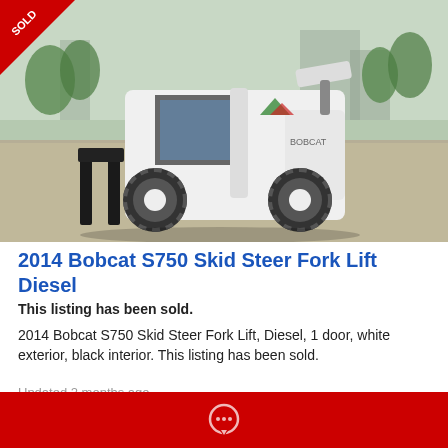[Figure (photo): Photo of a 2014 Bobcat S750 Skid Steer Fork Lift in white with black forks attached, parked on pavement outdoors. A red 'SOLD' diagonal banner appears in the top-left corner of the image.]
2014 Bobcat S750 Skid Steer Fork Lift Diesel
This listing has been sold.
2014 Bobcat S750 Skid Steer Fork Lift, Diesel, 1 door, white exterior, black interior. This listing has been sold.
Updated 2 months ago